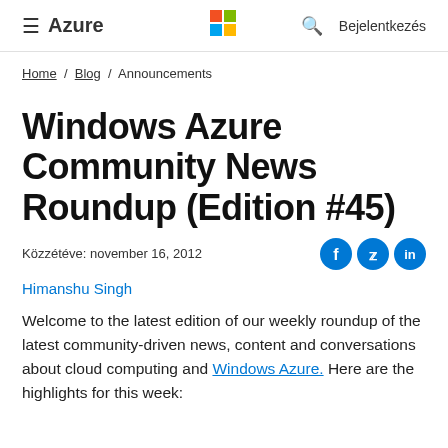≡ Azure  [Microsoft Logo]  🔍  Bejelentkezés
Home / Blog / Announcements
Windows Azure Community News Roundup (Edition #45)
Közzétéve: november 16, 2012
Himanshu Singh
Welcome to the latest edition of our weekly roundup of the latest community-driven news, content and conversations about cloud computing and Windows Azure. Here are the highlights for this week: